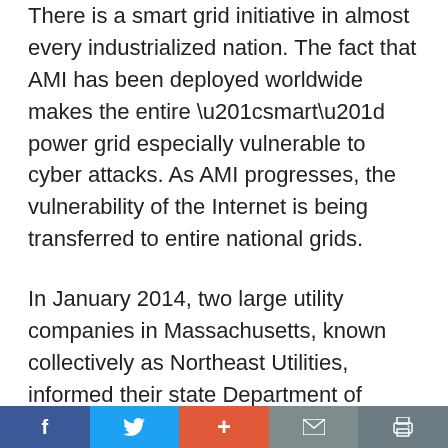There is a smart grid initiative in almost every industrialized nation. The fact that AMI has been deployed worldwide makes the entire “smart” power grid especially vulnerable to cyber attacks. As AMI progresses, the vulnerability of the Internet is being transferred to entire national grids.
In January 2014, two large utility companies in Massachusetts, known collectively as Northeast Utilities, informed their state Department of Public Utilities that there is no cost justification for implementing a one billion dollar AMI system statewide. They said: “Many customers have a deep aversion to
f  🐦  +  ✉  🖨